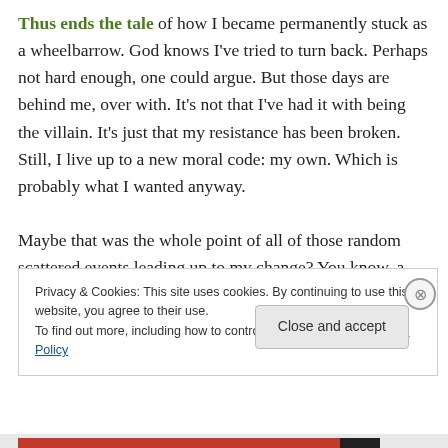Thus ends the tale of how I became permanently stuck as a wheelbarrow. God knows I've tried to turn back. Perhaps not hard enough, one could argue. But those days are behind me, over with. It's not that I've had it with being the villain. It's just that my resistance has been broken. Still, I live up to a new moral code: my own. Which is probably what I wanted anyway.

Maybe that was the whole point of all of those random scattered events leading up to my change? You know, a
Privacy & Cookies: This site uses cookies. By continuing to use this website, you agree to their use.
To find out more, including how to control cookies, see here: Cookie Policy
Close and accept